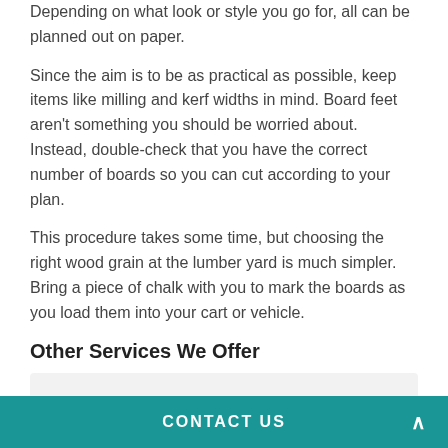Depending on what look or style you go for, all can be planned out on paper.
Since the aim is to be as practical as possible, keep items like milling and kerf widths in mind. Board feet aren't something you should be worried about. Instead, double-check that you have the correct number of boards so you can cut according to your plan.
This procedure takes some time, but choosing the right wood grain at the lumber yard is much simpler. Bring a piece of chalk with you to mark the boards as you load them into your cart or vehicle.
Other Services We Offer
External Wall Cladding in Aston Eyre - https://www.claddingexperts.co.uk/external-walls/shropshire/aston-eyre/
CONTACT US